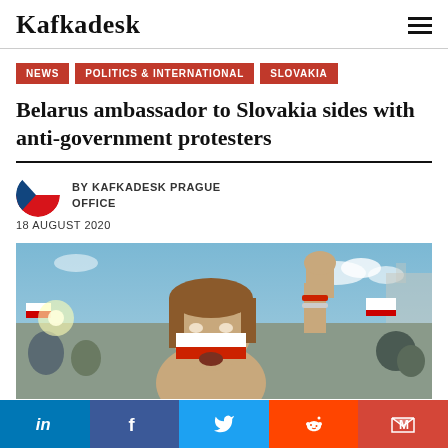Kafkadesk
NEWS
POLITICS & INTERNATIONAL
SLOVAKIA
Belarus ambassador to Slovakia sides with anti-government protesters
BY KAFKADESK PRAGUE OFFICE
18 AUGUST 2020
[Figure (photo): A protester at a Belarus anti-government demonstration, a young woman with Belarusian flag face paint raising her fist, surrounded by crowd with flags in the background.]
in | f | Twitter | Reddit | M